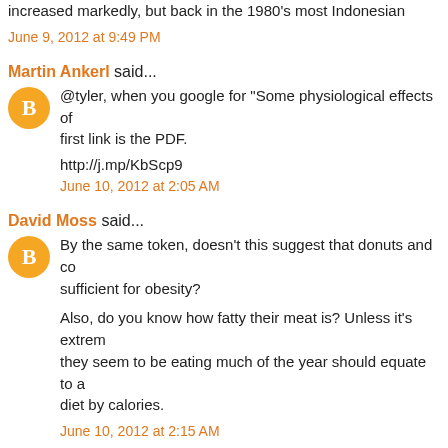increased markedly, but back in the 1980's most Indonesian
June 9, 2012 at 9:49 PM
Martin Ankerl said...
@tyler, when you google for "Some physiological effects of first link is the PDF.
http://j.mp/KbScp9
June 10, 2012 at 2:05 AM
David Moss said...
By the same token, doesn't this suggest that donuts and co sufficient for obesity?
Also, do you know how fatty their meat is? Unless it's extrem they seem to be eating much of the year should equate to a diet by calories.
June 10, 2012 at 2:15 AM
Anonymous said...